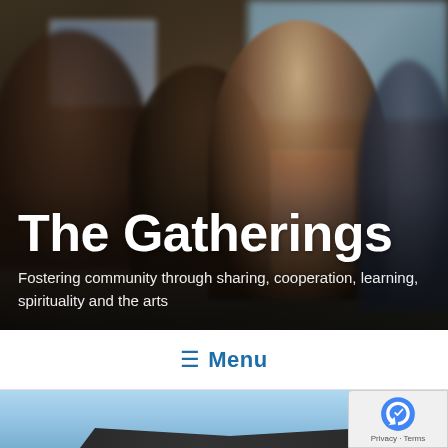[Figure (photo): Blurry photo of people gathered in an art gallery or community event space, with colorful paintings visible in the background including a rainbow painting. People are standing and socializing. The scene is warm-toned and slightly out of focus.]
The Gatherings
Fostering community through sharing, cooperation, learning, spirituality and the arts
≡ Menu
[Figure (photo): Bottom portion of page showing a light blue sky background with the top of what appears to be a building roof visible, partially cropped by the page edge.]
[Figure (logo): Google reCAPTCHA badge in bottom right corner showing the reCAPTCHA logo (checkmark with circular arrows) with text links for Privacy and Terms below it.]